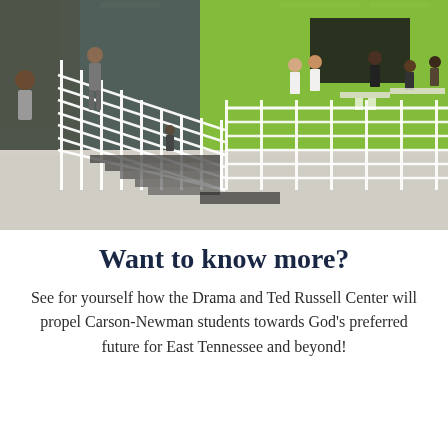[Figure (photo): Interior photo of a modern school building showing a large open atrium with white metal stair railings, a staircase in the center, bright green accent walls, concrete floors, and students walking and sitting in groups.]
Want to know more?
See for yourself how the Drama and Ted Russell Center will propel Carson-Newman students towards God's preferred future for East Tennessee and beyond!